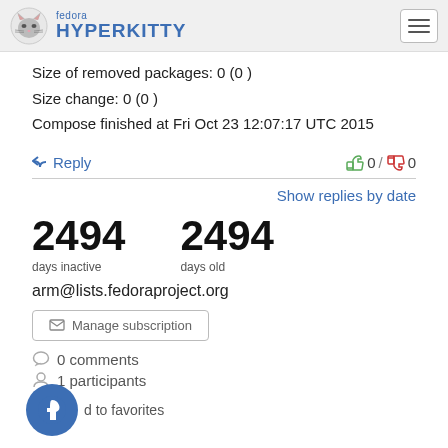fedora HYPERKITTY
Size of removed packages: 0 (0 )
Size change: 0 (0 )
Compose finished at Fri Oct 23 12:07:17 UTC 2015
Reply   0 / 0
Show replies by date
2494 days inactive
2494 days old
arm@lists.fedoraproject.org
Manage subscription
0 comments
1 participants
Add to favorites